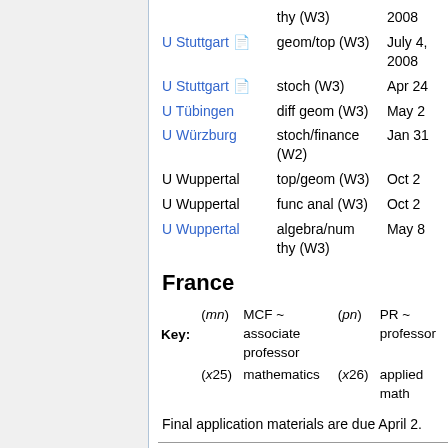| Institution | Areas | Date |
| --- | --- | --- |
|  | thy (W3) | 2008 |
| U Stuttgart | geom/top (W3) | July 4, 2008 |
| U Stuttgart | stoch (W3) | Apr 24 |
| U Tübingen | diff geom (W3) | May 2 |
| U Würzburg | stoch/finance (W2) | Jan 31 |
| U Wuppertal | top/geom (W3) | Oct 2 |
| U Wuppertal | func anal (W3) | Oct 2 |
| U Wuppertal | algebra/num thy (W3) | May 8 |
France
Key: (mn) MCF ~ associate professor  (pn) PR ~ professor  (x25) mathematics  (x26) applied math
Final application materials are due April 2.
| Institution | Areas | Short lists |
| --- | --- | --- |